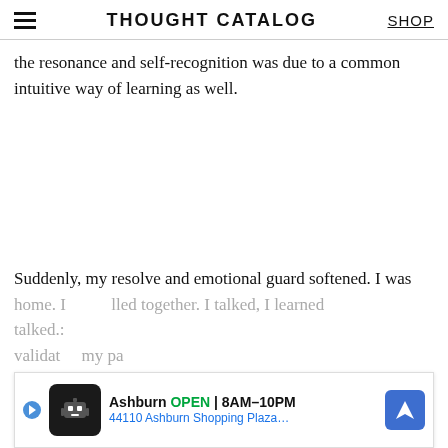THOUGHT CATALOG | SHOP
the resonance and self-recognition was due to a common intuitive way of learning as well.
Suddenly, my resolve and emotional guard softened. I was home. I felt... talked... validate... my pa...
[Figure (other): Advertisement banner for a local business in Ashburn. Shows a robot-like mascot icon, text reading 'Ashburn OPEN 8AM-10PM' and '44110 Ashburn Shopping Plaza...' with a blue navigation arrow icon.]